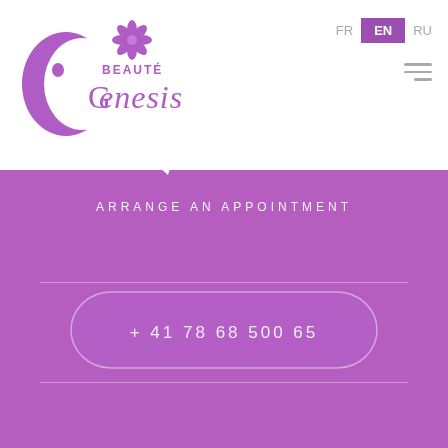[Figure (logo): Beauté Genesis logo with purple crescent face silhouette and lotus flower]
FR  EN  RU
ARRANGE AN APPOINTMENT
+ 41 78 68 500 65
[Figure (illustration): Decorative floral/damask watermark pattern on white/light grey background]